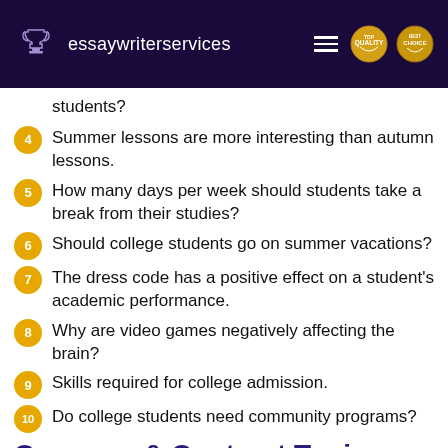essaywriterservices
students?
4. Summer lessons are more interesting than autumn lessons.
5. How many days per week should students take a break from their studies?
6. Should college students go on summer vacations?
7. The dress code has a positive effect on a student's academic performance.
8. Why are video games negatively affecting the brain?
9. Skills required for college admission.
10. Do college students need community programs?
Compare & Contrast Topics